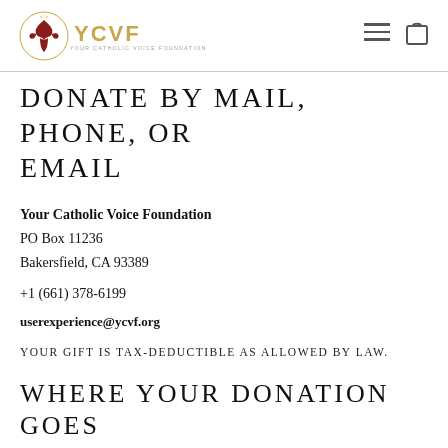YCVF Your Catholic Voice Foundation
DONATE BY MAIL, PHONE, OR EMAIL
Your Catholic Voice Foundation
PO Box 11236
Bakersfield, CA 93389
+1 (661) 378-6199
userexperience@ycvf.org
YOUR GIFT IS TAX-DEDUCTIBLE AS ALLOWED BY LAW.
WHERE YOUR DONATION GOES